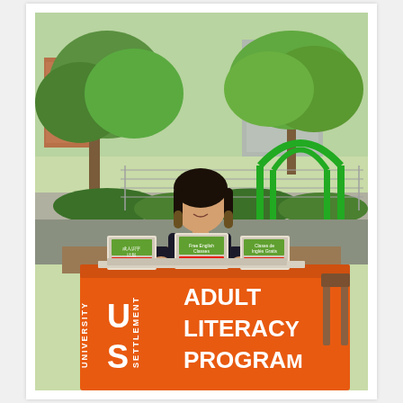[Figure (photo): A woman in a black t-shirt stands behind an orange table covered with an orange tablecloth reading 'University Settlement Adult Literacy Program' (with the US logo). The table has brochures and pamphlets on it. The setting is an outdoor park or playground area with green trees, green playground equipment, and a brick building in the background on a sunny day.]